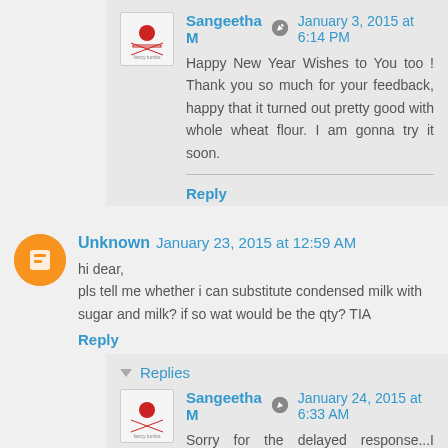Sangeetha M · January 3, 2015 at 6:14 PM
Happy New Year Wishes to You too ! Thank you so much for your feedback, happy that it turned out pretty good with whole wheat flour. I am gonna try it soon.
Reply
Unknown · January 23, 2015 at 12:59 AM
hi dear,
pls tell me whether i can substitute condensed milk with sugar and milk? if so wat would be the qty? TIA
Reply
▾ Replies
Sangeetha M · January 24, 2015 at 6:33 AM
Sorry for the delayed response...I guess you can